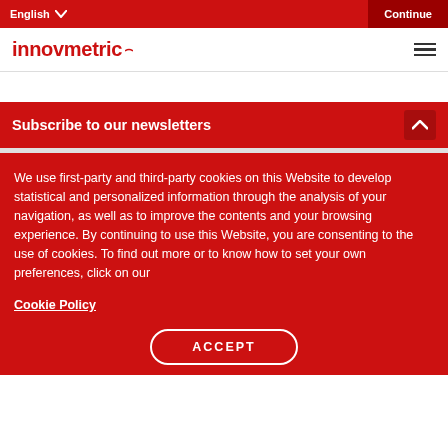English  Continue
[Figure (logo): Innovmetric logo in red with hamburger menu icon]
Subscribe to our newsletters
We use first-party and third-party cookies on this Website to develop statistical and personalized information through the analysis of your navigation, as well as to improve the contents and your browsing experience. By continuing to use this Website, you are consenting to the use of cookies. To find out more or to know how to set your own preferences, click on our
Cookie Policy
ACCEPT